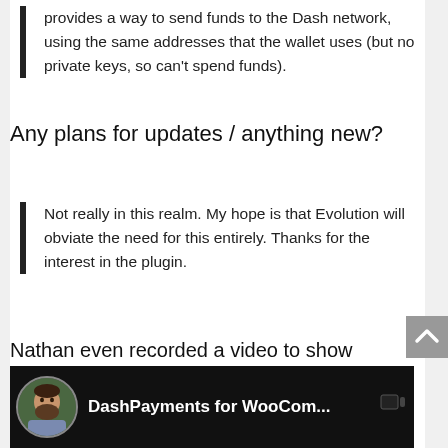provides a way to send funds to the Dash network, using the same addresses that the wallet uses (but no private keys, so can't spend funds).
Any plans for updates / anything new?
Not really in this realm. My hope is that Evolution will obviate the need for this entirely. Thanks for the interest in the plugin.
Nathan even recorded a video to show how to use the plugin.
[Figure (screenshot): Video thumbnail showing a man with a beard and a plant, with the title 'DashPayments for WooCom...' on a dark background.]